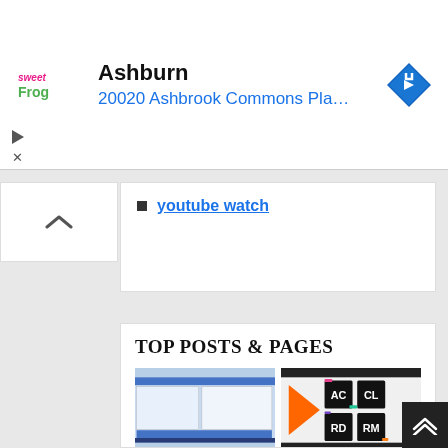[Figure (screenshot): Ad banner for sweetFrog showing Ashburn location with address '20020 Ashbrook Commons Pla...' and a blue navigation arrow icon]
youtube watch
[Figure (screenshot): Collapse/expand chevron up button on the left sidebar]
TOP POSTS & PAGES
[Figure (screenshot): Two thumbnail images: left shows a Windows software interface, right shows JetBrains IDE logos (AC, CL, RD, RM, GO, IJ, PS, PO)]
[Figure (screenshot): Two thumbnail images: left shows a dark background with colorful feather/light streaks, right shows Automation Studio software download screen]